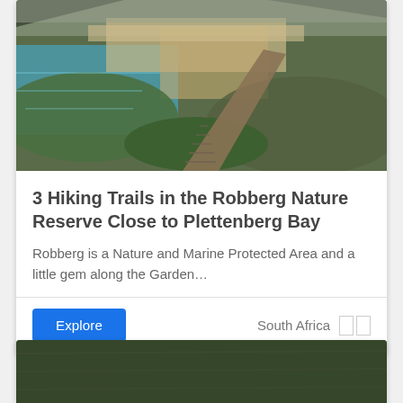[Figure (photo): Coastal boardwalk path winding through green dunes with beach and turquoise sea in the background at Robberg Nature Reserve]
3 Hiking Trails in the Robberg Nature Reserve Close to Plettenberg Bay
Robberg is a Nature and Marine Protected Area and a little gem along the Garden…
Explore
South Africa
[Figure (photo): Partial view of a second card showing a dark green water or field landscape photo]